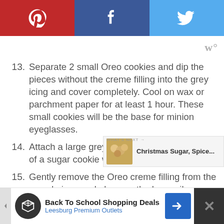[Figure (other): Social sharing bar with Pinterest (red), Facebook (blue), Twitter (light blue) buttons with white icons]
13. Separate 2 small Oreo cookies and dip the pieces without the creme filling into the grey icing and cover completely. Cool on wax or parchment paper for at least 1 hour. These small cookies will be the base for minion eyeglasses.
14. Attach a large grey Oreo cookie in the center of a sugar cookie with a dab of melted icing.
15. Gently remove the Oreo creme filling from the saved piece and place on the large silver Oreo.
16. Place a large candy eye in the middle of the creme filling on the large silver Oreo.
[Figure (other): What's Next promotional thumbnail showing Christmas Sugar, Spice... cookies]
[Figure (other): Advertisement banner: Back To School Shopping Deals - Leesburg Premium Outlets]